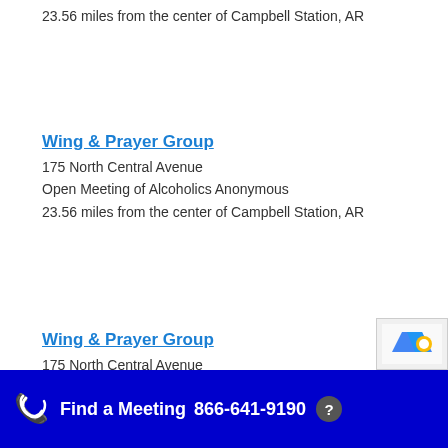23.56 miles from the center of Campbell Station, AR
Wing & Prayer Group
175 North Central Avenue
Open Meeting of Alcoholics Anonymous
23.56 miles from the center of Campbell Station, AR
Wing & Prayer Group
175 North Central Avenue
Open Meeting of Alcoholics A...
Find a Meeting  866-641-9190